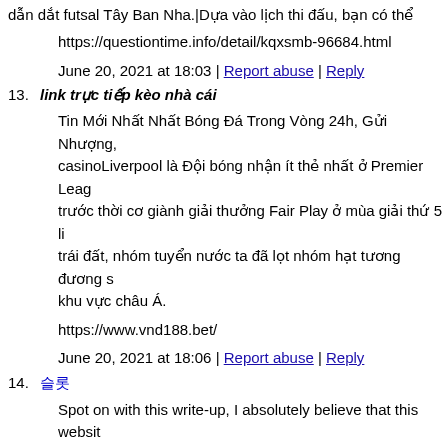dẫn dắt futsal Tây Ban Nha.|Dựa vào lịch thi đấu, bạn có thể
https://questiontime.info/detail/kqxsmb-96684.html
June 20, 2021 at 18:03 | Report abuse | Reply
13. link trực tiếp kèo nhà cái
Tin Mới Nhất Nhất Bóng Đá Trong Vòng 24h, Gửi Nhượng, casinoLiverpool là Đội bóng nhận ít thẻ nhất ở Premier Leag trước thời cơ giành giải thưởng Fair Play ở mùa giải thứ 5 li trái đất, nhóm tuyển nước ta đã lọt nhóm hạt tương đương s khu vực châu Á.
https://www.vnd188.bet/
June 20, 2021 at 18:06 | Report abuse | Reply
14. 슬롯
Spot on with this write-up, I absolutely believe that this websit attention. Iíll probably be back again to read through more, tha
https://pl.grepolis.com/start/redirect?url=http://gambling1remingtonkupq713.timeforchangecounsel wish-i-d-known-earlier